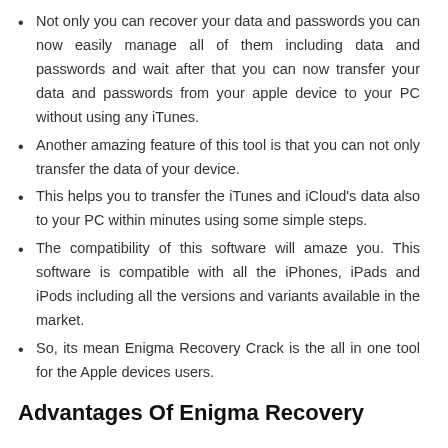Not only you can recover your data and passwords you can now easily manage all of them including data and passwords and wait after that you can now transfer your data and passwords from your apple device to your PC without using any iTunes.
Another amazing feature of this tool is that you can not only transfer the data of your device.
This helps you to transfer the iTunes and iCloud's data also to your PC within minutes using some simple steps.
The compatibility of this software will amaze you. This software is compatible with all the iPhones, iPads and iPods including all the versions and variants available in the market.
So, its mean Enigma Recovery Crack is the all in one tool for the Apple devices users.
Advantages Of Enigma Recovery